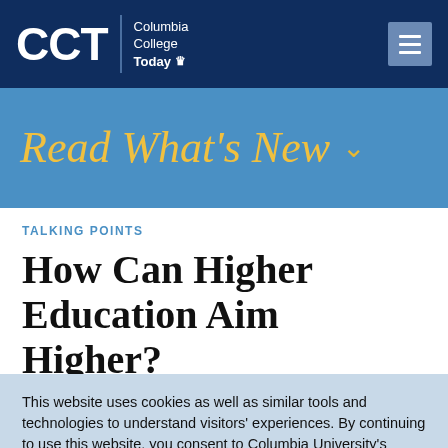CCT | Columbia College Today
Read What's New
TALKING POINTS
How Can Higher Education Aim Higher?
By Jamie Katz '72, BUS'80
This website uses cookies as well as similar tools and technologies to understand visitors' experiences. By continuing to use this website, you consent to Columbia University's usage of cookies